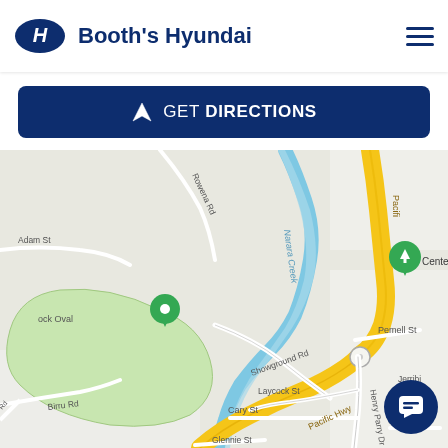Booth's Hyundai
GET DIRECTIONS
[Figure (map): Google Maps view showing area around Booth's Hyundai dealership near Pacific Hwy, Gosford NSW. Shows Narara Creek, Centennial Gardens, Showground Rd, Henry Parry Dr, Laycock St, Pemell St, Birru Rd, Cary St, Glennie St, and surrounding streets. Yellow highlighted road shows Pacific Hwy running diagonally. Green area shows Gosford Showground/oval with map pin marker. Green map pin at Centennial Gardens.]